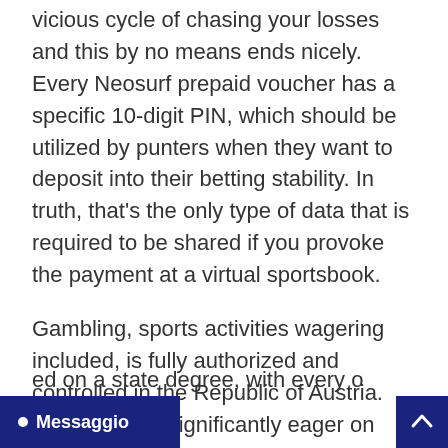vicious cycle of chasing your losses and this by no means ends nicely. Every Neosurf prepaid voucher has a specific 10-digit PIN, which should be utilized by punters when they want to deposit into their betting stability. In truth, that’s the only type of data that is required to be shared if you provoke the payment at a virtual sportsbook.
Gambling, sports activities wagering included, is fully authorized and controlled in the Republic of Austria. Austrians are significantly eager on betting on the outcomes of European soccer video games because of the massive recognition this sport enjoys in the country. Sports and horse wagering ed on a state degree, with every o